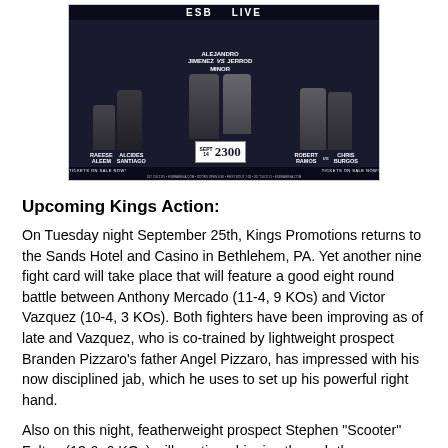[Figure (photo): Boxing event promotional flyer for ESB (ESPN) Live event on September 14 at 2300 Arena. Features fighters: Raeese Aleem vs Alcides Santiago, Alejandro Jimenez vs Jerrod Minor, Robert Ramos vs Chris Burgos. Text reads 'Tickets on Sale Now!' with website and phone contact info.]
Upcoming Kings Action:
On Tuesday night September 25th, Kings Promotions returns to the Sands Hotel and Casino in Bethlehem, PA. Yet another nine fight card will take place that will feature a good eight round battle between Anthony Mercado (11-4, 9 KOs) and Victor Vazquez (10-4, 3 KOs). Both fighters have been improving as of late and Vazquez, who is co-trained by lightweight prospect Branden Pizzaro's father Angel Pizzaro, has impressed with his now disciplined jab, which he uses to set up his powerful right hand.
Also on this night, featherweight prospect Stephen "Scooter" Fulton (13-0, 6 KOs) will continue his rise through the